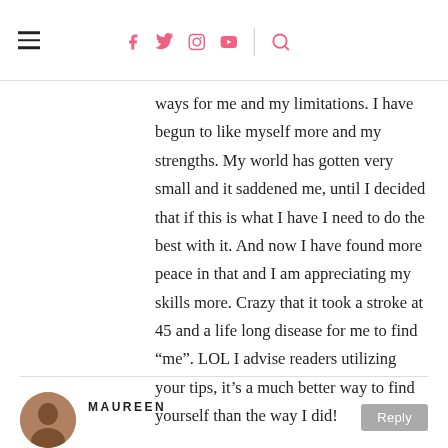Navigation header with hamburger menu, social icons (f, t, Instagram, YouTube), divider, and search icon
ways for me and my limitations. I have begun to like myself more and my strengths. My world has gotten very small and it saddened me, until I decided that if this is what I have I need to do the best with it. And now I have found more peace in that and I am appreciating my skills more. Crazy that it took a stroke at 45 and a life long disease for me to find “me”. LOL I advise readers utilizing your tips, it’s a much better way to find yourself than the way I did!
MAUREEN
Reply